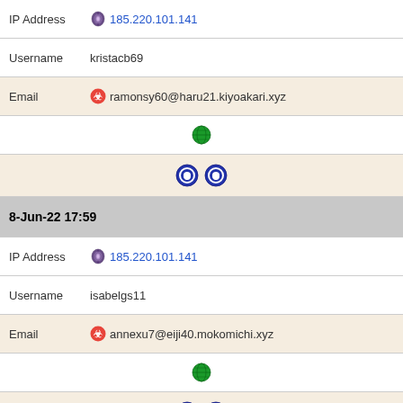IP Address 185.220.101.141
Username kristacb69
Email ramonsy60@haru21.kiyoakari.xyz
[globe icon]
[two icons]
8-Jun-22 17:59
IP Address 185.220.101.141
Username isabelgs11
Email annexu7@eiji40.mokomichi.xyz
[globe icon]
[two icons]
8-Jun-22 16:32
IP Address 185.220.101.141
Username sherrieur60
Email christopherkl5@satoshi3510.hiraku13.kiyoakari.xyz
[globe icon]
[two icons]